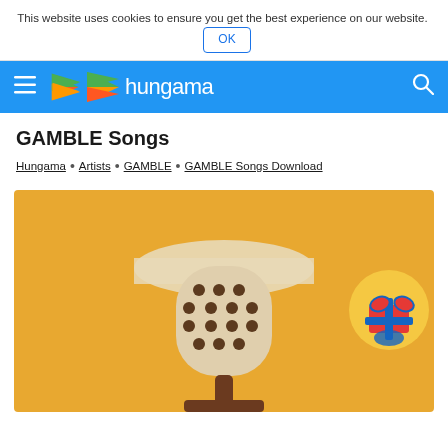This website uses cookies to ensure you get the best experience on our website. OK
hungama navigation bar
GAMBLE Songs
Hungama • Artists • GAMBLE • GAMBLE Songs Download
[Figure (illustration): Illustration of a vintage microphone on an orange/golden background, with a gift icon badge in the upper right corner]